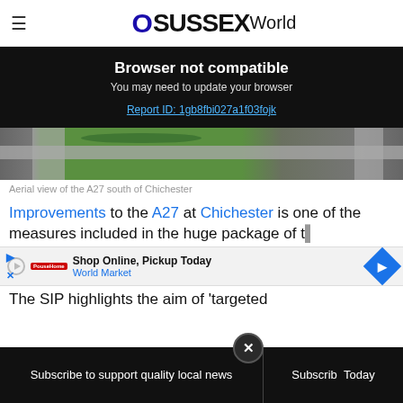☰ oSussexWorld
Browser not compatible
You may need to update your browser
Report ID: 1gb8fbi027a1f03fojk
[Figure (photo): Aerial view of the A27 south of Chichester showing a roundabout with green grass center and roads]
Aerial view of the A27 south of Chichester
Improvements to the A27 at Chichester is one of the measures included in the huge package of t...
[Figure (infographic): Advertisement: Shop Online, Pickup Today - World Market, with a blue diamond navigation icon]
The SIP highlights the aim of 'targeted
Subscribe to support quality local news | Subscribe Today